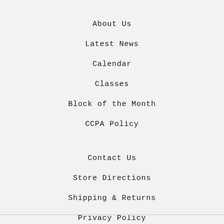About Us
Latest News
Calendar
Classes
Block of the Month
CCPA Policy
Contact Us
Store Directions
Shipping & Returns
Privacy Policy
Search